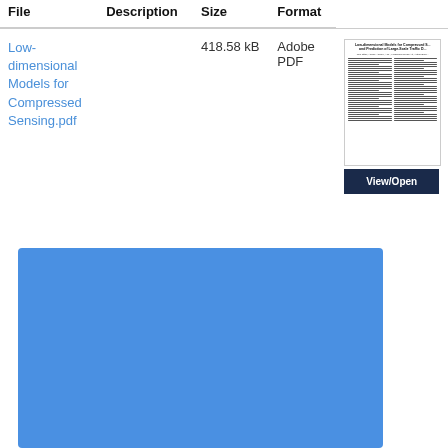| File | Description | Size | Format |
| --- | --- | --- | --- |
| Low-dimensional Models for Compressed Sensing.pdf |  | 418.58 kB | Adobe PDF |
[Figure (screenshot): Thumbnail preview of the PDF document 'Low-dimensional Models for Compressed Sensing' with a 'View/Open' button below it]
[Figure (other): A solid blue rectangle filling the lower portion of the page, representing a UI panel or preview area]